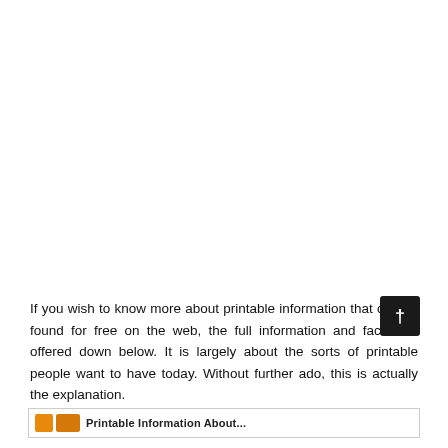If you wish to know more about printable information that can be found for free on the web, the full information and facts are offered down below. It is largely about the sorts of printable people want to have today. Without further ado, this is actually the explanation.